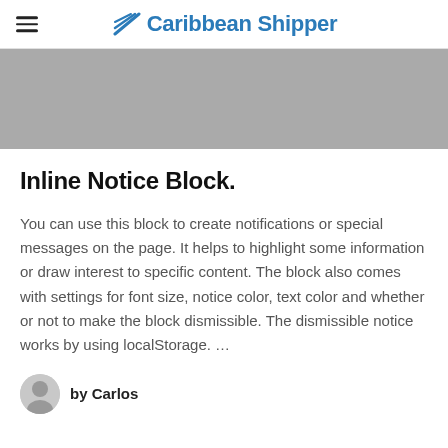Caribbean Shipper
[Figure (photo): Gray placeholder hero image banner]
Inline Notice Block.
You can use this block to create notifications or special messages on the page. It helps to highlight some information or draw interest to specific content. The block also comes with settings for font size, notice color, text color and whether or not to make the block dismissible. The dismissible notice works by using localStorage. …
by Carlos